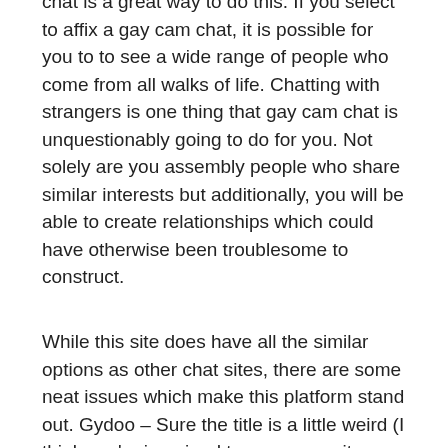chat is a great way to do this. If you select to affix a gay cam chat, it is possible for you to to see a wide range of people who come from all walks of life. Chatting with strangers is one thing that gay cam chat is unquestionably going to do for you. Not solely are you assembly people who share similar interests but additionally, you will be able to create relationships which could have otherwise been troublesome to construct.
While this site does have all the similar options as other chat sites, there are some neat issues which make this platform stand out. Gydoo – Sure the title is a little weird (I think you're imagined to pronounce it gay-doo, kinda like the cartoon canine) but that shouldn't put you off seeing what this web site is all about. In case you are interested in changing issues up, you possibly can all the time attempt text chatting as a substitute. Using the identical mechanics as the video chat